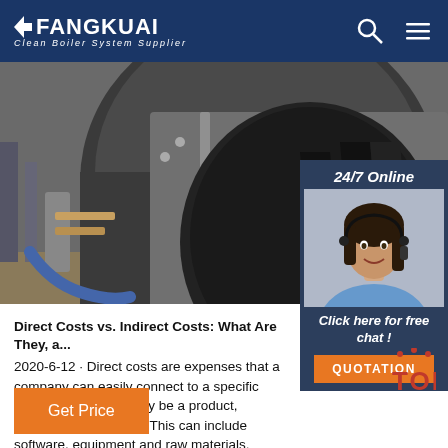FANGKUAI Clean Boiler System Supplier
[Figure (photo): Industrial boiler equipment photo showing large cylindrical metal components and piping]
[Figure (photo): Customer service representative with headset - 24/7 Online chat widget. Includes 'Click here for free chat!' text and QUOTATION button]
Direct Costs vs. Indirect Costs: What Are They, a... 2020-6-12 · Direct costs are expenses that a company can easily connect to a specific 'cost object,' which may be a product, department or project. This can include software, equipment and raw materials.
Get Price